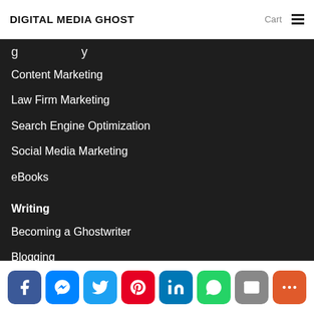DIGITAL MEDIA GHOST | Cart | ☰
Content Marketing
Law Firm Marketing
Search Engine Optimization
Social Media Marketing
eBooks
Writing
Becoming a Ghostwriter
Blogging
Content Marketing
Ghostwriting Services
[Figure (infographic): Social sharing buttons: Facebook, Messenger, Twitter, Pinterest, LinkedIn, WhatsApp, Email, More]